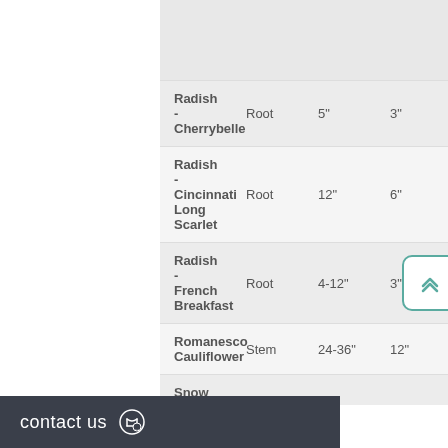| Name | Type | Height | Spacing |
| --- | --- | --- | --- |
| Radish - Cherrybelle | Root | 5" | 3" |
| Radish - Cincinnati Long Scarlet | Root | 12" | 6" |
| Radish - French Breakfast | Root | 4-12" | 3" |
| Romanesco Cauliflower | Stem | 24-36" | 12" |
| Snow Peas - Golden Sweet | Fruit | 60-72" | 8-12 |
| Spinach | Leaves | 10-12" | 4" |
| Squash - Acorn | Fruit | 10-12" | 4-5ft |
contact us